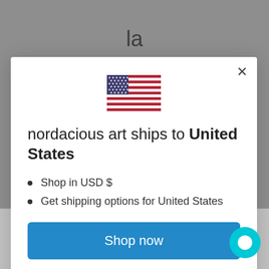[Figure (screenshot): US flag emoji/icon centered in modal]
nordacious art ships to United States
Shop in USD $
Get shipping options for United States
Shop now
Change shipping country